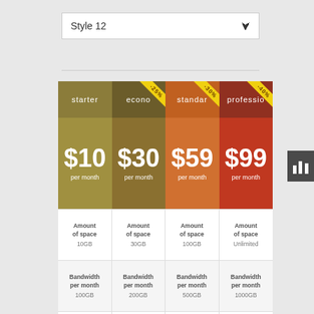Style 12
| starter | econo | standard | professional |
| --- | --- | --- | --- |
| $10 per month | $30 per month | $59 per month | $99 per month |
| Amount of space 10GB | Amount of space 30GB | Amount of space 100GB | Amount of space Unlimited |
| Bandwidth per month 100GB | Bandwidth per month 200GB | Bandwidth per month 500GB | Bandwidth per month 1000GB |
| No. of e-mail accounts | No. of e-mail accounts | No. of e-mail accounts | No. of e-mail accounts |